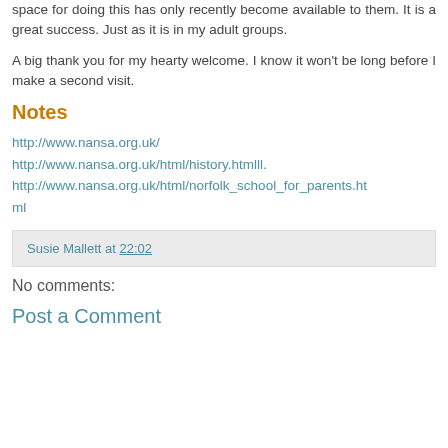space for doing this has only recently become available to them. It is a great success. Just as it is in my adult groups.
A big thank you for my hearty welcome. I know it won't be long before I make a second visit.
Notes
http://www.nansa.org.uk/
http://www.nansa.org.uk/html/history.htmlll.
http://www.nansa.org.uk/html/norfolk_school_for_parents.html
Susie Mallett at 22:02
No comments:
Post a Comment